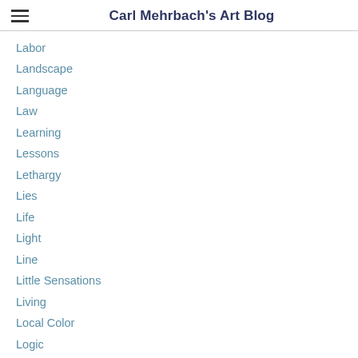Carl Mehrbach's Art Blog
Labor
Landscape
Language
Law
Learning
Lessons
Lethargy
Lies
Life
Light
Line
Little Sensations
Living
Local Color
Logic
Loneliness
Longevity
Lucidity